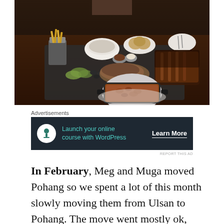[Figure (photo): A restaurant table spread with BBQ food: rack of ribs, sliced brisket, bread rolls, french fries in a metal cup, coleslaw, pickles, olives, sauces, and a cast iron dish of baked beans.]
Advertisements
[Figure (other): Advertisement banner with dark background showing a tree/person icon, text 'Launch your online course with WordPress' in teal, and a 'Learn More' button in white.]
REPORT THIS AD
In February, Meg and Muga moved Pohang so we spent a lot of this month slowly moving them from Ulsan to Pohang. The move went mostly ok, although we were confronted with a